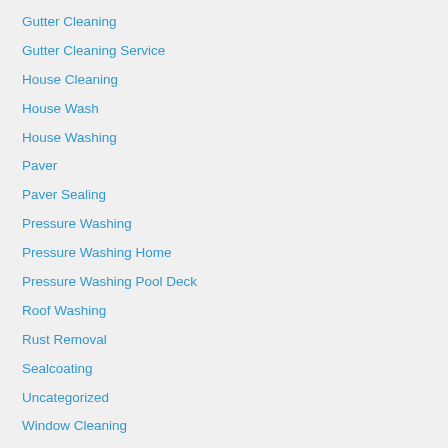Gutter Cleaning
Gutter Cleaning Service
House Cleaning
House Wash
House Washing
Paver
Paver Sealing
Pressure Washing
Pressure Washing Home
Pressure Washing Pool Deck
Roof Washing
Rust Removal
Sealcoating
Uncategorized
Window Cleaning